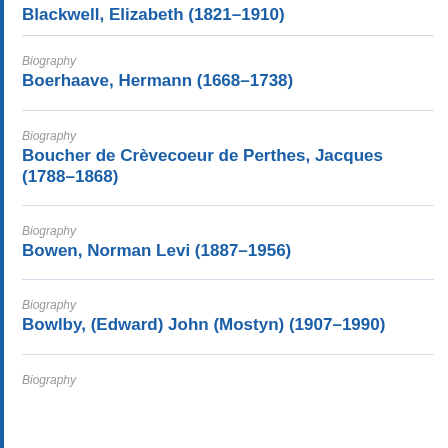Blackwell, Elizabeth (1821–1910)
Biography
Boerhaave, Hermann (1668–1738)
Biography
Boucher de Crèvecoeur de Perthes, Jacques (1788–1868)
Biography
Bowen, Norman Levi (1887–1956)
Biography
Bowlby, (Edward) John (Mostyn) (1907–1990)
Biography